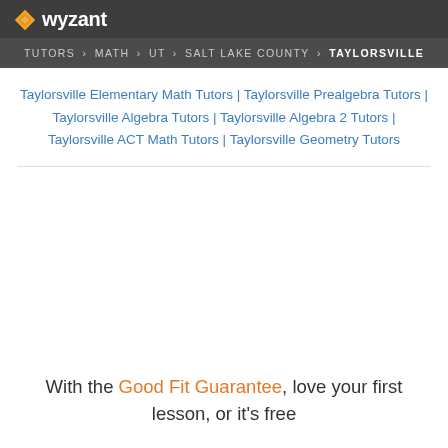wyzant
TUTORS › MATH › UT › SALT LAKE COUNTY › TAYLORSVILLE
Taylorsville Elementary Math Tutors | Taylorsville Prealgebra Tutors | Taylorsville Algebra Tutors | Taylorsville Algebra 2 Tutors | Taylorsville ACT Math Tutors | Taylorsville Geometry Tutors
With the Good Fit Guarantee, love your first lesson, or it's free